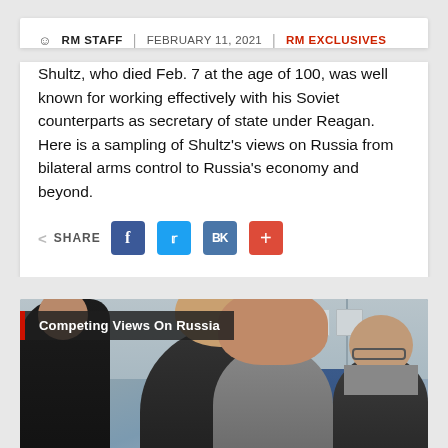RM STAFF | FEBRUARY 11, 2021 | RM EXCLUSIVES
Shultz, who died Feb. 7 at the age of 100, was well known for working effectively with his Soviet counterparts as secretary of state under Reagan. Here is a sampling of Shultz's views on Russia from bilateral arms control to Russia's economy and beyond.
[Figure (infographic): Share buttons row with Facebook, Twitter, VK, and plus social media icons]
[Figure (photo): Panel discussion photo showing multiple people seated at a table in a conference room setting, with overlay label 'Competing Views On Russia' and a red left border bar]